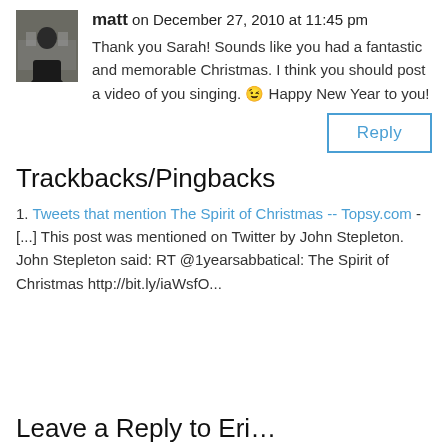[Figure (photo): Avatar photo of a man named matt, shown from shoulders up, dark background with temple/ruins visible]
matt on December 27, 2010 at 11:45 pm
Thank you Sarah! Sounds like you had a fantastic and memorable Christmas. I think you should post a video of you singing. 😉 Happy New Year to you!
Reply
Trackbacks/Pingbacks
1. Tweets that mention The Spirit of Christmas -- Topsy.com - [...] This post was mentioned on Twitter by John Stepleton. John Stepleton said: RT @1yearsabbatical: The Spirit of Christmas http://bit.ly/iaWsfO...
Leave a Reply to Eri…